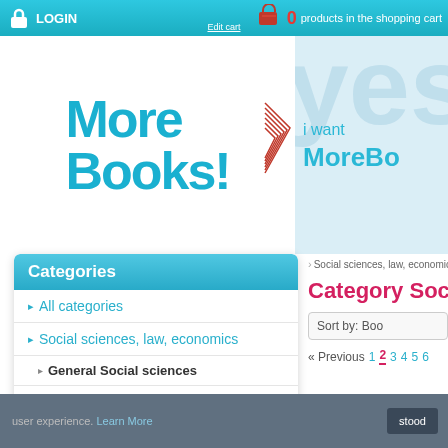LOGIN | 0 products in the shopping cart | Edit cart
[Figure (logo): More Books! logo with stylized book pages icon]
[Figure (illustration): i want MoreBooks banner with light blue background and 'yes' watermark text]
Categories
All categories
Social sciences, law, economics
General Social sciences
Sociology
Political science
Media, communication
Ethnology
Law
Economics
Social sciences, law, economics
Category Soc
Sort by: Boo
« Previous  1  2  3  4  5  6
user experience. Learn More
stood